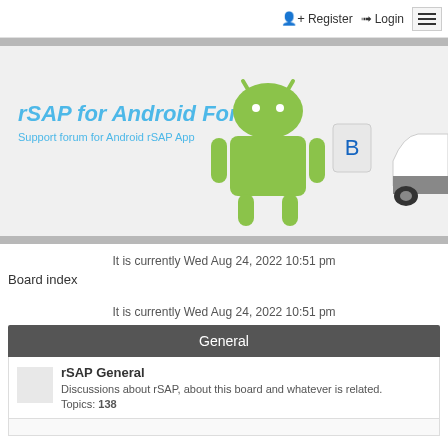Register  Login
[Figure (illustration): rSAP for Android Forum banner with Android robot mascot (green) connecting via Bluetooth to a car, on a light gray background. Title: rSAP for Android Forum. Subtitle: Support forum for Android rSAP App]
It is currently Wed Aug 24, 2022 10:51 pm
Board index
It is currently Wed Aug 24, 2022 10:51 pm
General
rSAP General
Discussions about rSAP, about this board and whatever is related.
Topics: 138